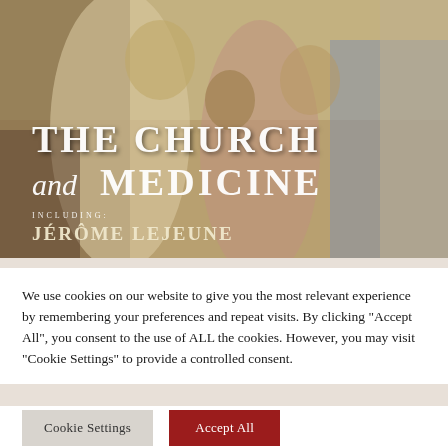[Figure (illustration): A painting (likely El Greco style) depicting religious figures in robes with overlaid text reading 'THE CHURCH and MEDICINE' including 'JÉRÔME LEJEUNE'. The image shows multiple figures in classical religious garments.]
We use cookies on our website to give you the most relevant experience by remembering your preferences and repeat visits. By clicking "Accept All", you consent to the use of ALL the cookies. However, you may visit "Cookie Settings" to provide a controlled consent.